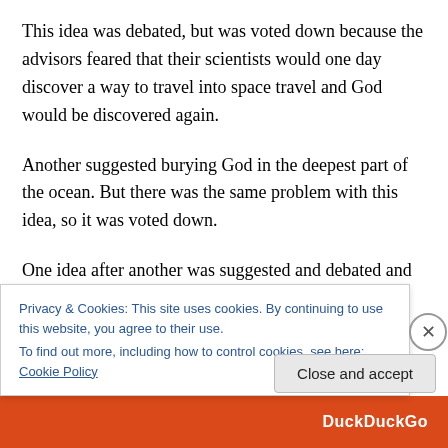This idea was debated, but was voted down because the advisors feared that their scientists would one day discover a way to travel into space travel and God would be discovered again.
Another suggested burying God in the deepest part of the ocean. But there was the same problem with this idea, so it was voted down.
One idea after another was suggested and debated and rejected – until finally, the oldest and wisest advisor had a
Privacy & Cookies: This site uses cookies. By continuing to use this website, you agree to their use.
To find out more, including how to control cookies, see here: Cookie Policy
Close and accept
DuckDuckGo